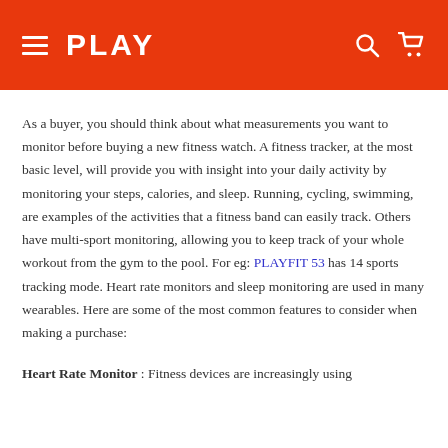PLAY
As a buyer, you should think about what measurements you want to monitor before buying a new fitness watch. A fitness tracker, at the most basic level, will provide you with insight into your daily activity by monitoring your steps, calories, and sleep. Running, cycling, swimming, are examples of the activities that a fitness band can easily track. Others have multi-sport monitoring, allowing you to keep track of your whole workout from the gym to the pool. For eg: PLAYFIT 53 has 14 sports tracking mode. Heart rate monitors and sleep monitoring are used in many wearables. Here are some of the most common features to consider when making a purchase:
Heart Rate Monitor : Fitness devices are increasingly using